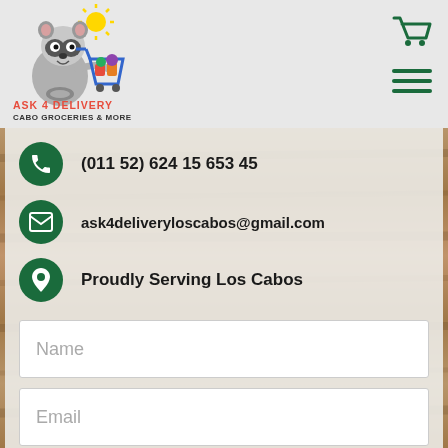[Figure (logo): Ask 4 Delivery Cabo Groceries & More logo with raccoon pushing a grocery cart and a sun, text reads ASK 4 DELIVERY CABO GROCERIES & MORE]
[Figure (other): Green shopping cart icon in header top right]
[Figure (other): Green hamburger menu icon in header top right]
(011 52) 624 15 653 45
ask4deliveryloscabos@gmail.com
Proudly Serving Los Cabos
Name
Email